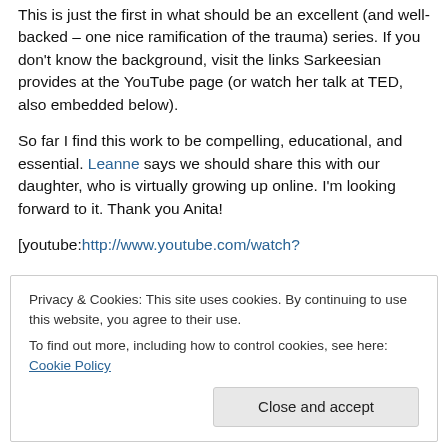This is just the first in what should be an excellent (and well-backed – one nice ramification of the trauma) series. If you don't know the background, visit the links Sarkeesian provides at the YouTube page (or watch her talk at TED, also embedded below).
So far I find this work to be compelling, educational, and essential. Leanne says we should share this with our daughter, who is virtually growing up online. I'm looking forward to it. Thank you Anita!
[youtube:http://www.youtube.com/watch?
Privacy & Cookies: This site uses cookies. By continuing to use this website, you agree to their use. To find out more, including how to control cookies, see here: Cookie Policy
Close and accept